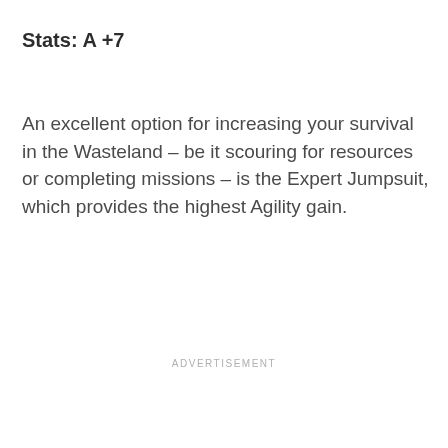Stats: A +7
An excellent option for increasing your survival in the Wasteland – be it scouring for resources or completing missions – is the Expert Jumpsuit, which provides the highest Agility gain.
ADVERTISEMENT